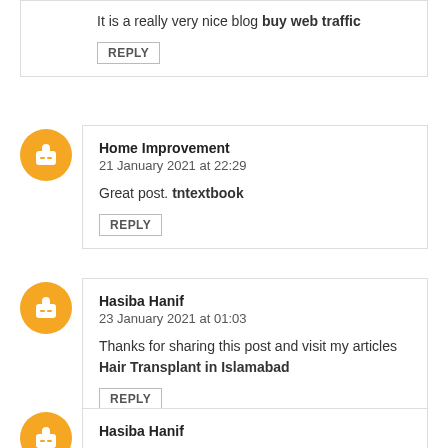It is a really very nice blog buy web traffic
REPLY
Home Improvement
21 January 2021 at 22:29
Great post. tntextbook
REPLY
Hasiba Hanif
23 January 2021 at 01:03
Thanks for sharing this post and visit my articles Hair Transplant in Islamabad
REPLY
Hasiba Hanif